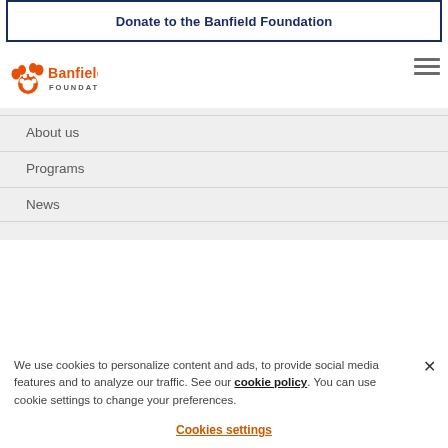Donate to the Banfield Foundation
[Figure (logo): Banfield Foundation logo with orange paw print and text]
About us
Programs
News
We use cookies to personalize content and ads, to provide social media features and to analyze our traffic. See our cookie policy. You can use cookie settings to change your preferences.
Cookies settings